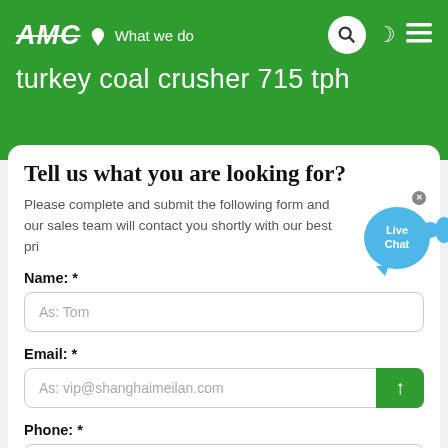AMC — What we do | turkey coal crusher 715 tph
Tell us what you are looking for?
Please complete and submit the following form and our sales team will contact you shortly with our best pri[ce]
Name: *
As: Tom
Email: *
As: vip@shanghaimeilan.com
Phone: *
With Country Code
The Location of the Project: